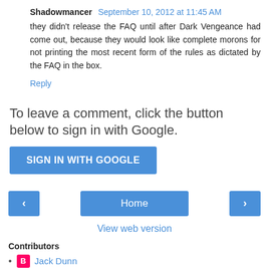Shadowmancer   September 10, 2012 at 11:45 AM
they didn't release the FAQ until after Dark Vengeance had come out, because they would look like complete morons for not printing the most recent form of the rules as dictated by the FAQ in the box.
Reply
To leave a comment, click the button below to sign in with Google.
SIGN IN WITH GOOGLE
Home
View web version
Contributors
Jack Dunn